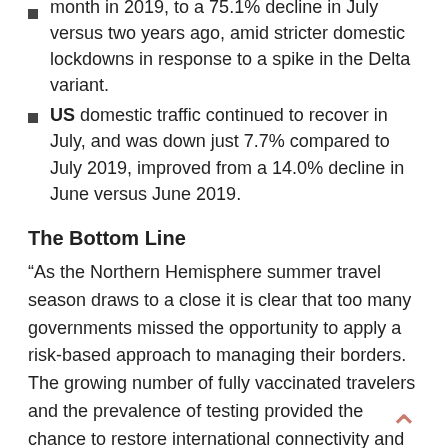month in 2019, to a 75.1% decline in July versus two years ago, amid stricter domestic lockdowns in response to a spike in the Delta variant.
US domestic traffic continued to recover in July, and was down just 7.7% compared to July 2019, improved from a 14.0% decline in June versus June 2019.
The Bottom Line
“As the Northern Hemisphere summer travel season draws to a close it is clear that too many governments missed the opportunity to apply a risk-based approach to managing their borders. The growing number of fully vaccinated travelers and the prevalence of testing provided the chance to restore international connectivity and bring much needed relief to economies that are heavily reliant on travel and tourism. Instead,